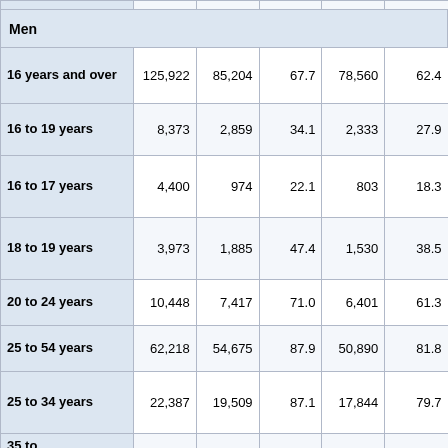|  | Col1 | Col2 | Col3 | Col4 | Col5 |
| --- | --- | --- | --- | --- | --- |
| Men |  |  |  |  |  |
| 16 years and over | 125,922 | 85,204 | 67.7 | 78,560 | 62.4 |
| 16 to 19 years | 8,373 | 2,859 | 34.1 | 2,333 | 27.9 |
| 16 to 17 years | 4,400 | 974 | 22.1 | 803 | 18.3 |
| 18 to 19 years | 3,973 | 1,885 | 47.4 | 1,530 | 38.5 |
| 20 to 24 years | 10,448 | 7,417 | 71.0 | 6,401 | 61.3 |
| 25 to 54 years | 62,218 | 54,675 | 87.9 | 50,890 | 81.8 |
| 25 to 34 years | 22,387 | 19,509 | 87.1 | 17,844 | 79.7 |
| 35 to ... |  |  |  |  |  |